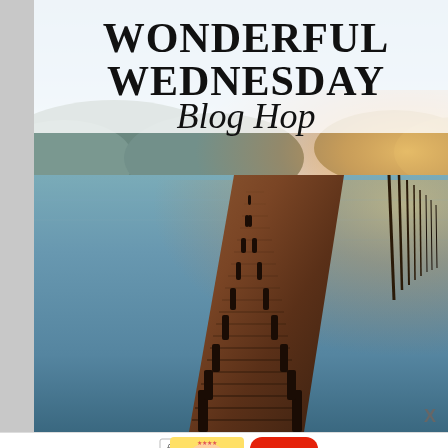[Figure (illustration): Wonderful Wednesday Blog Hop promotional image showing a wooden dock/pier extending into a calm lake at sunset, with text overlay reading 'WONDERFUL WEDNESDAY Blog Hop']
[Figure (infographic): Mobile advertisement banner for BitLife - Life Simulator app, showing ad label, baby cartoon icon, BitLife app icon with sperm logo, app name 'BitLife - Life Simulator', and 'Install!' call to action button]